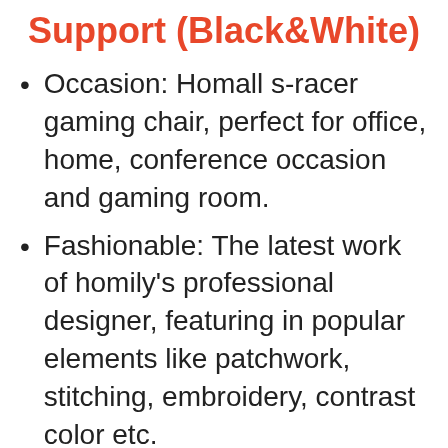Support (Black&White)
Occasion: Homall s-racer gaming chair, perfect for office, home, conference occasion and gaming room.
Fashionable: The latest work of homily's professional designer, featuring in popular elements like patchwork, stitching, embroidery, contrast color etc.
Selected material: high Density shaping foam, more comfort, anti-oxidation, elasticity resilience and service life; 1. 8mm thick steel...